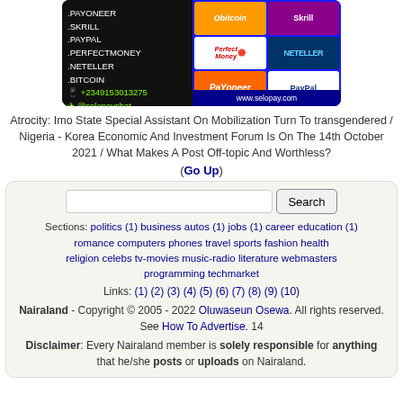[Figure (other): Advertisement image for selopay.com showing payment methods: Payoneer, Skrill, PayPal, PerfectMoney, Neteller, Bitcoin. Contact: +2349153013275, @selopaychat, www.selopay.com]
Atrocity: Imo State Special Assistant On Mobilization Turn To transgendered / Nigeria - Korea Economic And Investment Forum Is On The 14th October 2021 / What Makes A Post Off-topic And Worthless?
(Go Up)
Sections: politics (1) business autos (1) jobs (1) career education (1) romance computers phones travel sports fashion health religion celebs tv-movies music-radio literature webmasters programming techmarket
Links: (1) (2) (3) (4) (5) (6) (7) (8) (9) (10)
Nairaland - Copyright © 2005 - 2022 Oluwaseun Osewa. All rights reserved. See How To Advertise. 14
Disclaimer: Every Nairaland member is solely responsible for anything that he/she posts or uploads on Nairaland.